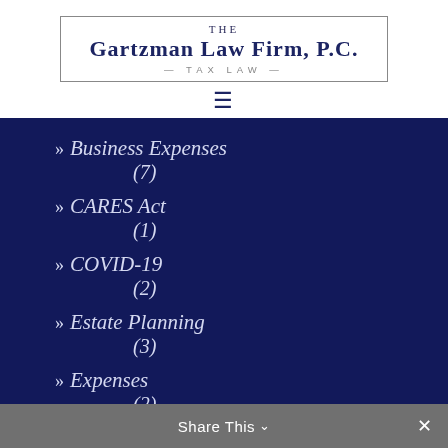[Figure (logo): The Gartzman Law Firm, P.C. Tax Law logo with border box]
[Figure (other): Hamburger menu icon (three horizontal lines)]
» Business Expenses (7)
» CARES Act (1)
» COVID-19 (2)
» Estate Planning (3)
» Expenses (2)
» FAST
Share This ∨  ✕